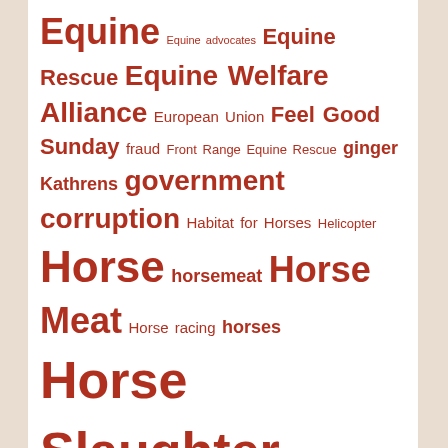[Figure (infographic): Word cloud / tag cloud related to horse welfare, wild horses, mustangs, and related topics. Terms rendered in varying font sizes and shades of red/brown on a white background over a faded rocky background. Larger terms include: Horse Slaughter, Wild Horse, Wild Horse Freedom Federation, Horse Meat, Horse, Mustang, Nevada, United States, wild burro, wild burros, The Cloud Foundation.]